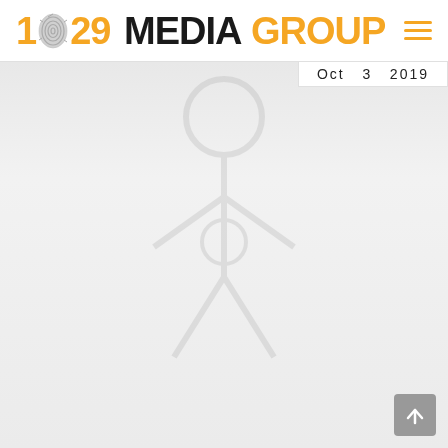[Figure (logo): 1029 Media Group logo with fingerprint graphic replacing the '0', orange and black text]
Oct  3  2019
[Figure (illustration): Large faint watermark illustration of a person figure with a circular element, light gray on white/gray gradient background]
[Figure (other): Scroll-to-top button, gray square with white upward arrow]